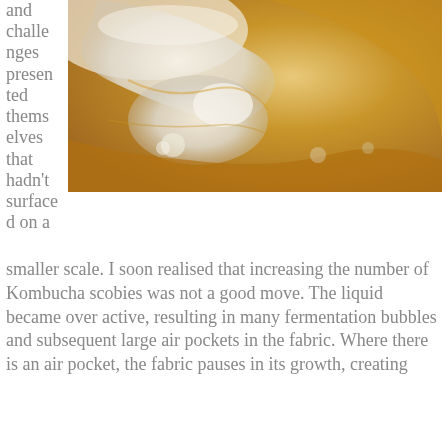and challenges presented themselves that hadn't surfaced on a
[Figure (photo): Close-up photograph of a Kombucha SCOBY (Symbiotic Culture of Bacteria and Yeast) showing its gelatinous, amber-golden and white/cream layered texture with fermentation patterns visible.]
smaller scale. I soon realised that increasing the number of Kombucha scobies was not a good move. The liquid became over active, resulting in many fermentation bubbles and subsequent large air pockets in the fabric. Where there is an air pocket, the fabric pauses in its growth, creating